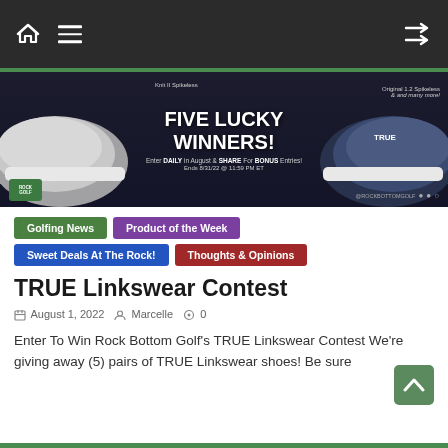Navigation bar with home icon, hamburger menu, shuffle icon
[Figure (photo): TRUE Linkswear contest promotional banner showing golf shoes with text: FIVE LUCKY WINNERS! Ripstop Spikeless, Knit II Spikeless, Original 1.2 Spikeless & and many more! Enter DAILY in August & SHARE For BONUS Entries! Ends 8/31/22 @ 11:59 PM ET]
Golfing News
Product of the Week
Sweet Deals At The Rock!
Thoughts & Opinions
TRUE Linkswear Contest
August 1, 2022   Marcelle   0
Enter To Win Rock Bottom Golf's TRUE Linkswear Contest We're giving away (5) pairs of TRUE Linkswear shoes! Be sure